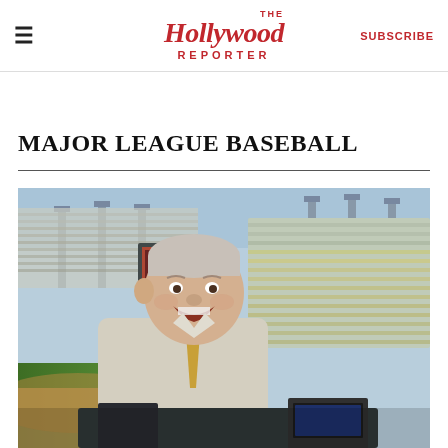≡  The Hollywood Reporter  SUBSCRIBE
MAJOR LEAGUE BASEBALL
[Figure (photo): An older man with grey hair in a light button-up shirt and gold tie, smiling broadly in a broadcast booth at Dodger Stadium. The stadium stands and field are visible in the background on a sunny day.]